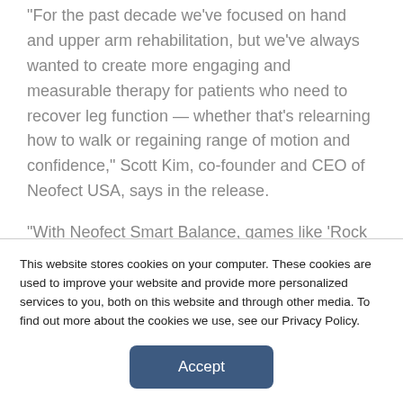"For the past decade we've focused on hand and upper arm rehabilitation, but we've always wanted to create more engaging and measurable therapy for patients who need to recover leg function — whether that's relearning how to walk or regaining range of motion and confidence," Scott Kim, co-founder and CEO of Neofect USA, says in the release.
"With Neofect Smart Balance, games like 'Rock Band' prompt users to move their feet, in this case to the beat of a song. Patients are physically and cognitively challenged and can also have fun while rehabilitating."
This website stores cookies on your computer. These cookies are used to improve your website and provide more personalized services to you, both on this website and through other media. To find out more about the cookies we use, see our Privacy Policy.